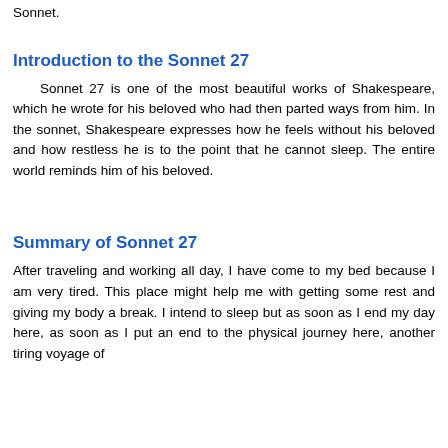Sonnet.
Introduction to the Sonnet 27
Sonnet 27 is one of the most beautiful works of Shakespeare, which he wrote for his beloved who had then parted ways from him. In the sonnet, Shakespeare expresses how he feels without his beloved and how restless he is to the point that he cannot sleep. The entire world reminds him of his beloved.
Summary of Sonnet 27
After traveling and working all day, I have come to my bed because I am very tired. This place might help me with getting some rest and giving my body a break. I intend to sleep but as soon as I end my day here, as soon as I put an end to the physical journey here, another tiring voyage of